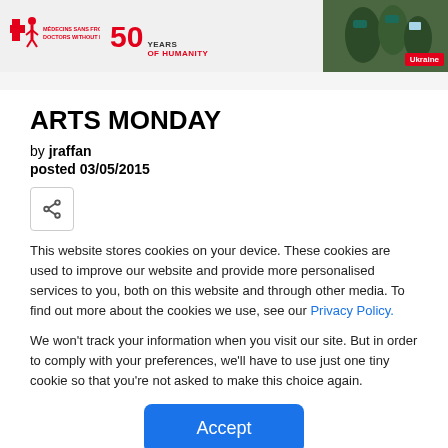[Figure (photo): MSF (Médecins Sans Frontières / Doctors Without Borders) header banner with logo on left, '50 Years of Humanity' text in center, and a photo of workers in green uniforms in Ukraine on the right]
ARTS MONDAY
by jraffan
posted 03/05/2015
[Figure (other): Share button icon (network share symbol)]
This website stores cookies on your device. These cookies are used to improve our website and provide more personalised services to you, both on this website and through other media. To find out more about the cookies we use, see our Privacy Policy.
We won't track your information when you visit our site. But in order to comply with your preferences, we'll have to use just one tiny cookie so that you're not asked to make this choice again.
[Figure (other): Blue Accept button]